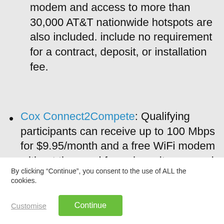modem and access to more than 30,000 AT&T nationwide hotspots are also included. include no requirement for a contract, deposit, or installation fee.
Cox Connect2Compete: Qualifying participants can receive up to 100 Mbps for $9.95/month and a free WiFi modem without the need for a deposit or annual contract.
Mediacom Connect2Compete: Qualifying households can receive up to 25 Mbps for $9.95/month and a WiFi modem is provided via
By clicking “Continue”, you consent to the use of ALL the cookies.